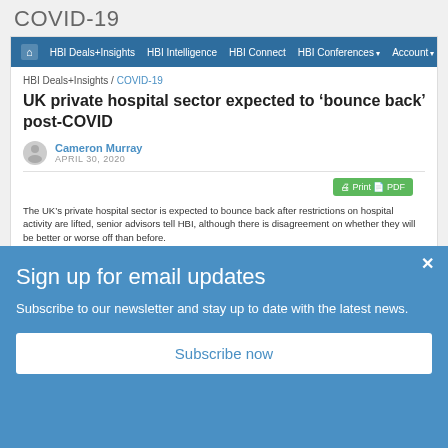COVID-19
[Figure (screenshot): Navigation bar with HBI Deals+Insights, HBI Intelligence, HBI Connect, HBI Conferences, Account menus on dark blue background]
HBI Deals+Insights / COVID-19
UK private hospital sector expected to ‘bounce back’ post-COVID
Cameron Murray
April 30, 2020
The UK’s private hospital sector is expected to bounce back after restrictions on hospital activity are lifted, senior advisors tell HBI, although there is disagreement on whether they will be better or worse off than before.
Dr Leonid Shapiro from Candesic tells HBI: “We’re expecting a jump in the private market post-COVID as people who were holding back on electives return. And the NHS may still be dealing with COVID for a period after restrictions are lifted elsewhere, so might need to outsource more work.”
Sign up for email updates
Subscribe to our newsletter and stay up to date with the latest news.
Subscribe now